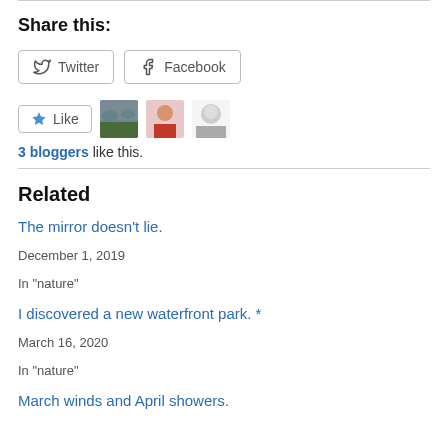Share this:
[Figure (other): Twitter and Facebook share buttons]
[Figure (other): Like button with 3 blogger avatars]
3 bloggers like this.
Related
The mirror doesn't lie.
December 1, 2019
In "nature"
I discovered a new waterfront park. *
March 16, 2020
In "nature"
March winds and April showers.